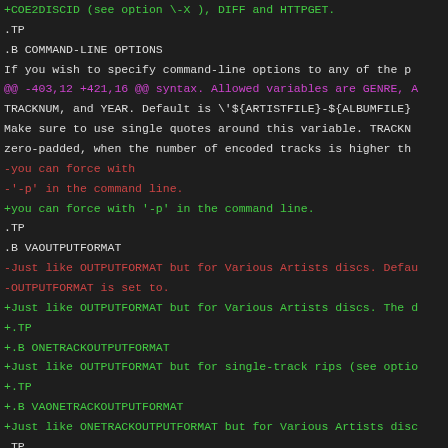diff output showing changes to a man page / configuration file for abcde
+COE2DISCID (see option \-X ), DIFF and HTTPGET.
.TP
  .B COMMAND-LINE OPTIONS
  If you wish to specify command-line options to any of the p
@@ -403,12 +421,16 @@ syntax. Allowed variables are GENRE, A
TRACKNUM, and YEAR. Default is \'${ARTISTFILE}-${ALBUMFILE}
Make sure to use single quotes around this variable. TRACKN
zero-padded, when the number of encoded tracks is higher th
-you can force with
-'-p' in the command line.
+you can force with '-p' in the command line.
.TP
  .B VAOUTPUTFORMAT
-Just like OUTPUTFORMAT but for Various Artists discs. Defau
-OUTPUTFORMAT is set to.
+Just like OUTPUTFORMAT but for Various Artists discs. The d
+.TP
+.B ONETRACKOUTPUTFORMAT
+Just like OUTPUTFORMAT but for single-track rips (see optio
+.TP
+.B VAONETRACKOUTPUTFORMAT
+Just like ONETRACKOUTPUTFORMAT but for Various Artists disc
.TP
  .B MAXPROCS
Defines how many encoders to run at once. This makes for hu
@@ -503,7 +525,7 @@ Possible ways one can call abcde
Will work in most systems
.TP
  .B abcde \-d /dev/cdrom2
-If the CDROM you are reding from is not the standard /dev/c
+If the CDROM you are reading from is not the standard /dev/
.TP